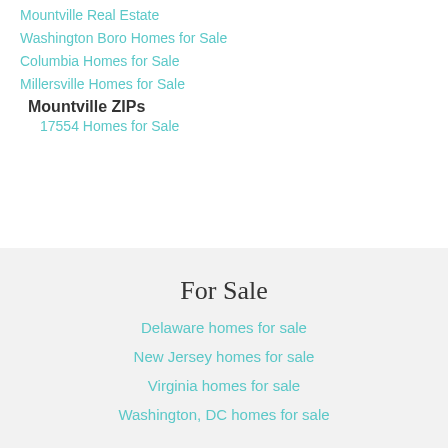Mountville Real Estate
Washington Boro Homes for Sale
Columbia Homes for Sale
Millersville Homes for Sale
Mountville ZIPs
17554 Homes for Sale
For Sale
Delaware homes for sale
New Jersey homes for sale
Virginia homes for sale
Washington, DC homes for sale